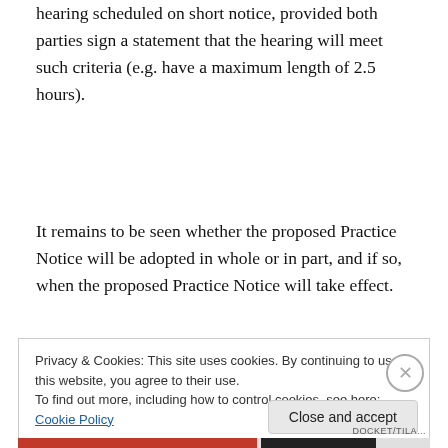hearing scheduled on short notice, provided both parties sign a statement that the hearing will meet such criteria (e.g. have a maximum length of 2.5 hours).
It remains to be seen whether the proposed Practice Notice will be adopted in whole or in part, and if so, when the proposed Practice Notice will take effect.
Privacy & Cookies: This site uses cookies. By continuing to use this website, you agree to their use.
To find out more, including how to control cookies, see here: Cookie Policy